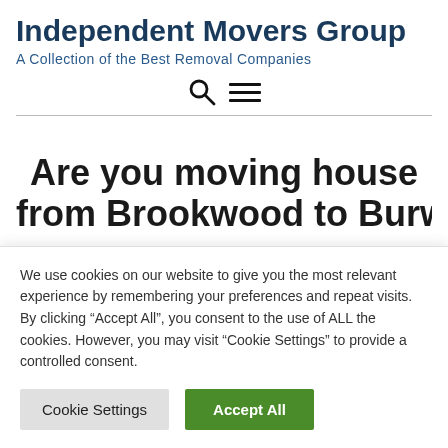Independent Movers Group
A Collection of the Best Removal Companies
Are you moving house from Brookwood to Burwell
We use cookies on our website to give you the most relevant experience by remembering your preferences and repeat visits. By clicking “Accept All”, you consent to the use of ALL the cookies. However, you may visit “Cookie Settings” to provide a controlled consent.